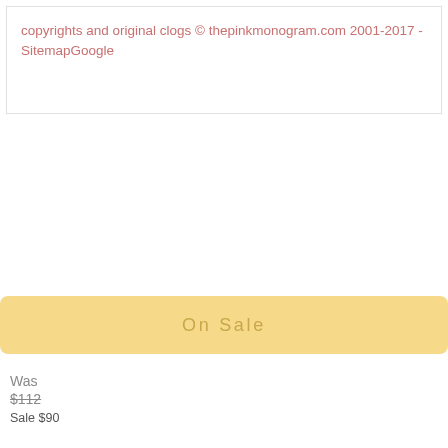copyrights and original clogs © thepinkmonogram.com 2001-2017 - SitemapGoogle
On Sale
Was $112
Sale $90